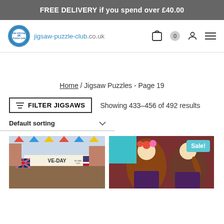FREE DELIVERY if you spend over £40.00
[Figure (logo): Jigsaw Puzzle Club logo - circular badge with 'THE OFFICIAL UK PUZZLE CLUB' text and blue/white design]
jigsaw-puzzle-club.co.uk
Home / Jigsaw Puzzles - Page 19
≡ FILTER JIGSAWS   Showing 433–456 of 492 results
Default sorting
[Figure (photo): VE-Day celebration scene jigsaw puzzle image showing crowds with British and American flags and a VE-DAY banner]
[Figure (photo): Jigsaw puzzle image showing two women, one holding flowers and one playing violin, with Sale! badge overlay]